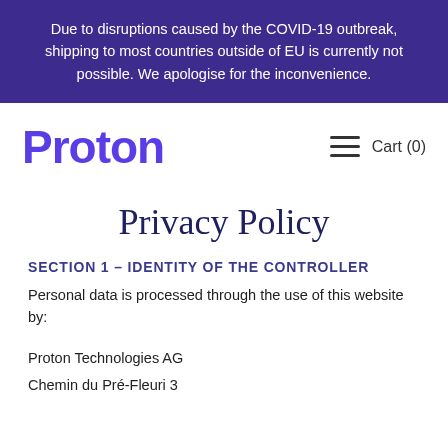Due to disruptions caused by the COVID-19 outbreak, shipping to most countries outside of EU is currently not possible. We apologise for the inconvenience.
[Figure (logo): Proton logo in purple with stylized P]
Cart (0)
Privacy Policy
SECTION 1 – IDENTITY OF THE CONTROLLER
Personal data is processed through the use of this website by:
Proton Technologies AG
Chemin du Pré-Fleuri 3